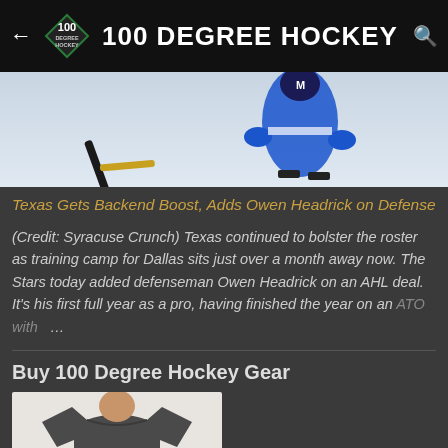100 DEGREE HOCKEY
[Figure (photo): Hockey player in blue and white uniform skating with stick on ice]
Texas Gets Backend Boost, Adds Owen Headrick on Defense
(Credit: Syracuse Crunch) Texas continued to bolster the roster as training camp for Dallas sits just over a month away now. The Stars today added defenseman Owen Headrick on an AHL deal. It's his first full year as a pro, having finished the year on an ATO with …
Buy 100 Degree Hockey Gear
[Figure (photo): Man wearing a dark grey t-shirt that reads PROPERTY OF 100 DEGREE HOCKEY XXL EST. 2009]